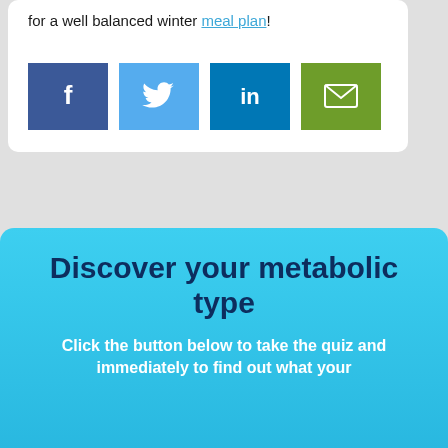for a well balanced winter meal plan!
[Figure (infographic): Social sharing buttons: Facebook (dark blue), Twitter (light blue), LinkedIn (medium blue), Email (green)]
Discover your metabolic type
Click the button below to take the quiz and immediately to find out what your